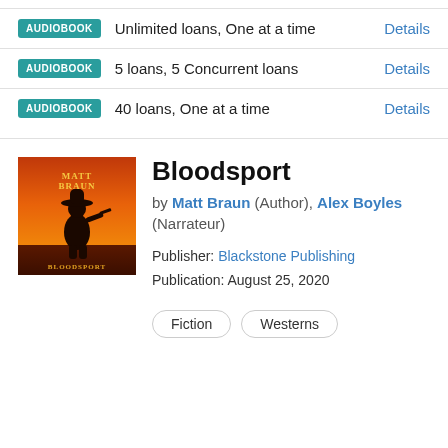AUDIOBOOK  Unlimited loans, One at a time  Details
AUDIOBOOK  5 loans, 5 Concurrent loans  Details
AUDIOBOOK  40 loans, One at a time  Details
Bloodsport
by Matt Braun (Author), Alex Boyles (Narrateur)
Publisher: Blackstone Publishing
Publication: August 25, 2020
Fiction  Westerns